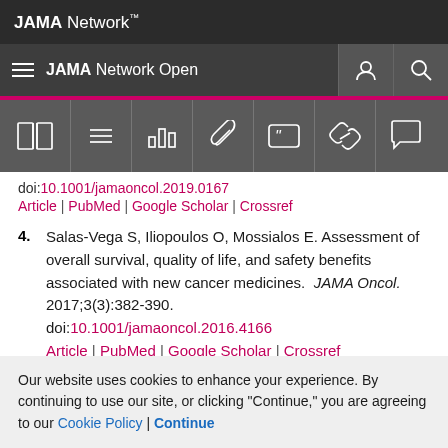JAMA Network
JAMA Network Open
[Figure (screenshot): JAMA Network Open website navigation toolbar with icons for table of contents, menu, bar chart, paperclip, quote, link, and comment]
doi:10.1001/jamaoncol.2019.0167
Article | PubMed | Google Scholar | Crossref
4. Salas-Vega S, Iliopoulos O, Mossialos E. Assessment of overall survival, quality of life, and safety benefits associated with new cancer medicines. JAMA Oncol. 2017;3(3):382-390. doi:10.1001/jamaoncol.2016.4166 Article | PubMed | Google Scholar | Crossref
Our website uses cookies to enhance your experience. By continuing to use our site, or clicking "Continue," you are agreeing to our Cookie Policy | Continue